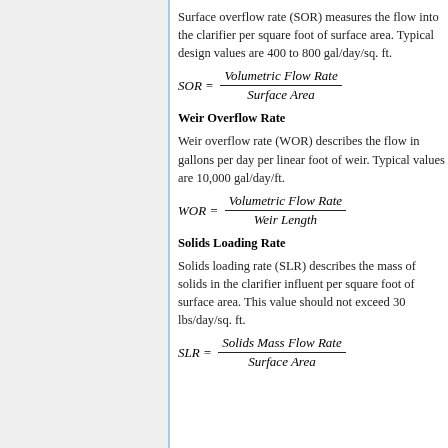Surface overflow rate (SOR) measures the flow into the clarifier per square foot of surface area. Typical design values are 400 to 800 gal/day/sq. ft.
Weir Overflow Rate
Weir overflow rate (WOR) describes the flow in gallons per day per linear foot of weir. Typical values are 10,000 gal/day/ft.
Solids Loading Rate
Solids loading rate (SLR) describes the mass of solids in the clarifier influent per square foot of surface area. This value should not exceed 30 lbs/day/sq. ft.